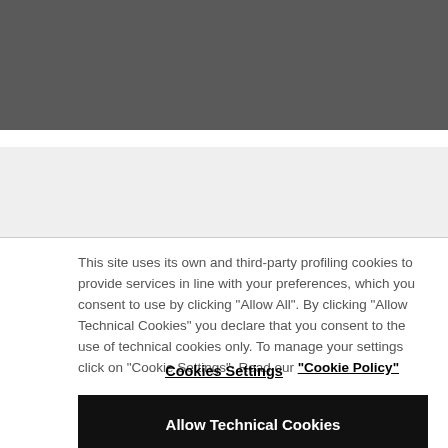[Figure (other): Dark grey header bar at top of page]
[Figure (other): Light grey bar below header]
This site uses its own and third-party profiling cookies to provide services in line with your preferences, which you consent to use by clicking "Allow All". By clicking "Allow Technical Cookies" you declare that you consent to the use of technical cookies only. To manage your settings click on "Cookie Settings". Read our "Cookie Policy"
Cookies Settings
Allow Technical Cookies
Allow All